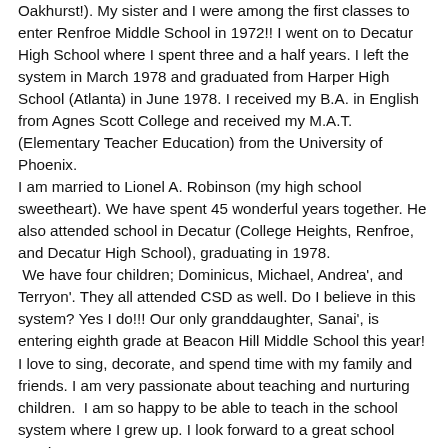Oakhurst!). My sister and I were among the first classes to enter Renfroe Middle School in 1972!! I went on to Decatur High School where I spent three and a half years. I left the system in March 1978 and graduated from Harper High School (Atlanta) in June 1978. I received my B.A. in English from Agnes Scott College and received my M.A.T. (Elementary Teacher Education) from the University of Phoenix. I am married to Lionel A. Robinson (my high school sweetheart). We have spent 45 wonderful years together. He also attended school in Decatur (College Heights, Renfroe, and Decatur High School), graduating in 1978. We have four children; Dominicus, Michael, Andrea', and Terryon'. They all attended CSD as well. Do I believe in this system? Yes I do!!! Our only granddaughter, Sanai', is entering eighth grade at Beacon Hill Middle School this year! I love to sing, decorate, and spend time with my family and friends. I am very passionate about teaching and nurturing children. I am so happy to be able to teach in the school system where I grew up. I look forward to a great school year!